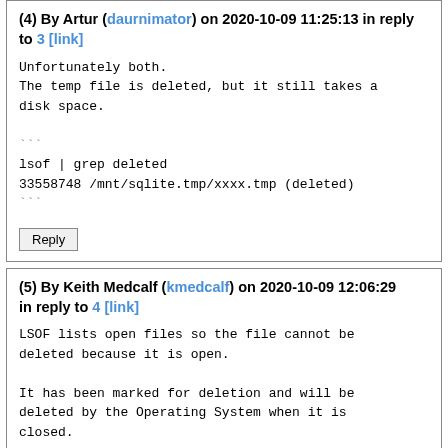(4) By Artur (daurnimator) on 2020-10-09 11:25:13 in reply to 3 [link]
Unfortunately both.
The temp file is deleted, but it still takes a disk space.

```
lsof | grep deleted
33558748 /mnt/sqlite.tmp/xxxx.tmp (deleted)
```
Reply
(5) By Keith Medcalf (kmedcalf) on 2020-10-09 12:06:29 in reply to 4 [link]
LSOF lists open files so the file cannot be deleted because it is open.

It has been marked for deletion and will be deleted by the Operating System when it is closed.